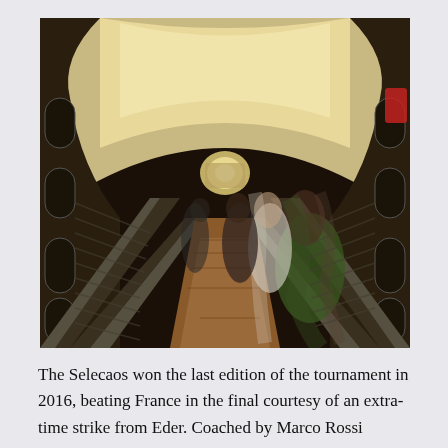[Figure (photo): Interior view of a metro/subway tunnel with moving walkways or escalators, photographed with motion blur. The tunnel has an arched vaulted ceiling with warm lighting, brown tiled walkway in the center, and blurred figures of people moving. The perspective is a vanishing point down a long corridor.]
The Selecaos won the last edition of the tournament in 2016, beating France in the final courtesy of an extra-time strike from Eder. Coached by Marco Rossi